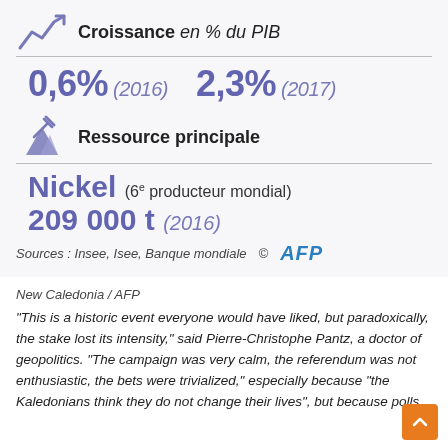Croissance en % du PIB
0,6% (2016)   2,3% (2017)
Ressource principale
Nickel (6e producteur mondial) 209 000 t (2016)
Sources : Insee, Isee, Banque mondiale   © AFP
New Caledonia / AFP
"This is a historic event everyone would have liked, but paradoxically, the stake lost its intensity," said Pierre-Christophe Pantz, a doctor of geopolitics. "The campaign was very calm, the referendum was not enthusiastic, the bets were trivialized," especially because "the Kaledonians think they do not change their lives", but because polls